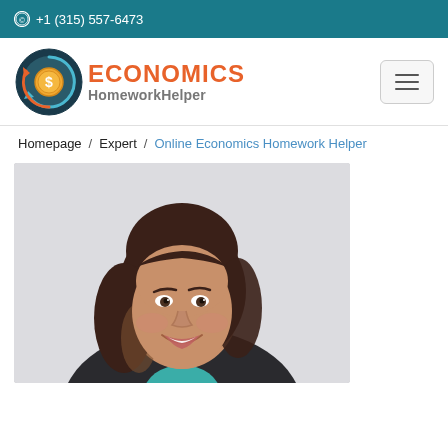+1 (315) 557-6473
[Figure (logo): Economics HomeworkHelper logo with circular coin icon and orange/grey text]
Homepage / Expert / Online Economics Homework Helper
[Figure (photo): Professional headshot of a smiling woman with dark brown wavy hair wearing a dark blazer with a teal top, photographed against a light grey background]